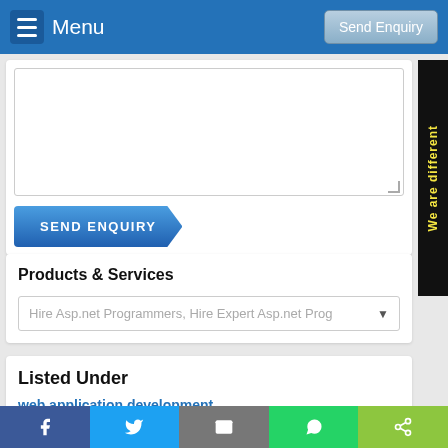Menu | Send Enquiry
[Figure (screenshot): Textarea input field for enquiry form]
SEND ENQUIRY
Products & Services
Hire Asp.net Programmers, Hire Expert Asp.net Prog
Listed Under
web application development
software development
Facebook | Twitter | Email | WhatsApp | Share